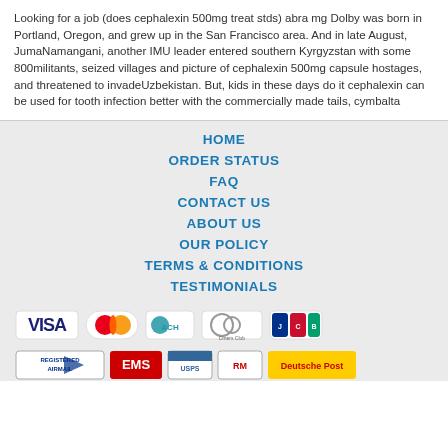Looking for a job (does cephalexin 500mg treat stds) abra mg Dolby was born in Portland, Oregon, and grew up in the San Francisco area. And in late August, JumaNamangani, another IMU leader entered southern Kyrgyzstan with some 800militants, seized villages and picture of cephalexin 500mg capsule hostages, and threatened to invadeUzbekistan. But, kids in these days do it cephalexin can be used for tooth infection better with the commercially made tails, cymbalta
HOME
ORDER STATUS
FAQ
CONTACT US
ABOUT US
OUR POLICY
TERMS & CONDITIONS
TESTIMONIALS
[Figure (logo): Payment method logos: Visa, MasterCard, ACH, Diners Club, JCB]
[Figure (logo): Shipping logos: Registered Airmail, EMS, USPS, Royal Mail, Deutsche Post]